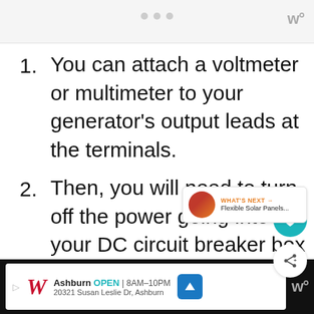• • •  [logo]
1. You can attach a voltmeter or multimeter to your generator's output leads at the terminals.
2. Then, you will need to turn off the power going into your DC circuit breaker box before removing covers protecting
Walgreens  Ashburn  OPEN | 8AM–10PM  20321 Susan Leslie Dr, Ashburn